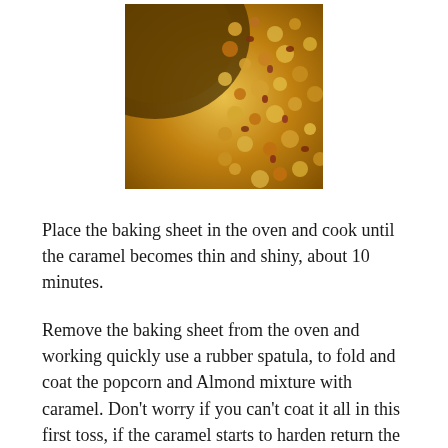[Figure (photo): Close-up photo of caramel-coated popcorn and almonds being poured or mixed in a pan, showing golden caramel coating with reddish-brown almond pieces scattered throughout.]
Place the baking sheet in the oven and cook until the caramel becomes thin and shiny, about 10 minutes.
Remove the baking sheet from the oven and working quickly use a rubber spatula, to fold and coat the popcorn and Almond mixture with caramel. Don't worry if you can't coat it all in this first toss, if the caramel starts to harden return the bake sheet to the oven. Repeat this process as many times as necessary to completely coat the popcorn